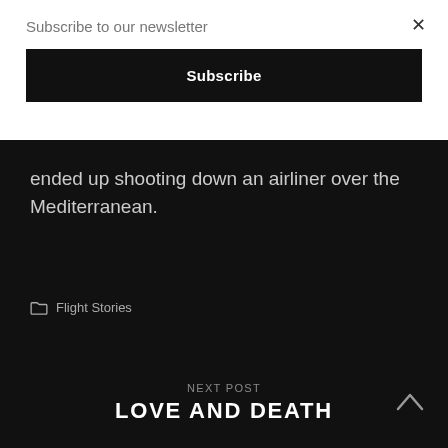Subscribe to our newsletter
Subscribe
ended up shooting down an airliner over the Mediterranean.
Flight Stories
NEXT POST
LOVE AND DEATH